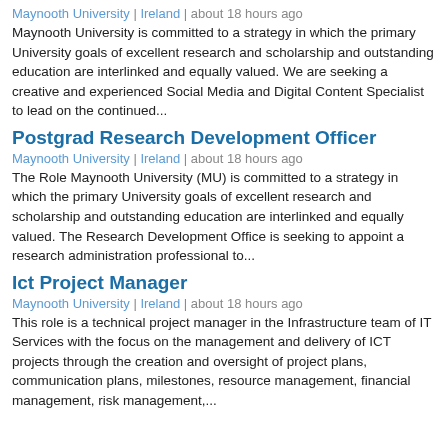Maynooth University | Ireland | about 18 hours ago
Maynooth University is committed to a strategy in which the primary University goals of excellent research and scholarship and outstanding education are interlinked and equally valued. We are seeking a creative and experienced Social Media and Digital Content Specialist to lead on the continued...
Postgrad Research Development Officer
Maynooth University | Ireland | about 18 hours ago
The Role Maynooth University (MU) is committed to a strategy in which the primary University goals of excellent research and scholarship and outstanding education are interlinked and equally valued. The Research Development Office is seeking to appoint a research administration professional to...
Ict Project Manager
Maynooth University | Ireland | about 18 hours ago
This role is a technical project manager in the Infrastructure team of IT Services with the focus on the management and delivery of ICT projects through the creation and oversight of project plans, communication plans, milestones, resource management, financial management, risk management,...